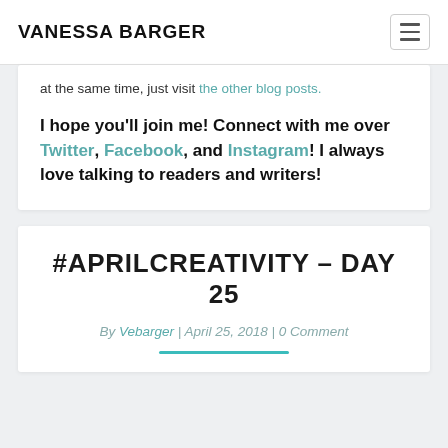VANESSA BARGER
at the same time, just visit the other blog posts.
I hope you'll join me! Connect with me over Twitter, Facebook, and Instagram! I always love talking to readers and writers!
#APRILCREATIVITY – DAY 25
By Vebarger | April 25, 2018 | 0 Comment